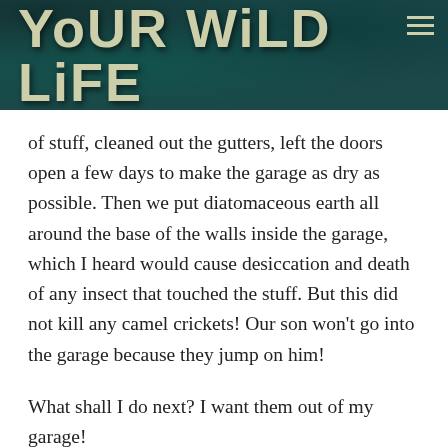Your Wild Life
of stuff, cleaned out the gutters, left the doors open a few days to make the garage as dry as possible. Then we put diatomaceous earth all around the base of the walls inside the garage, which I heard would cause desiccation and death of any insect that touched the stuff. But this did not kill any camel crickets! Our son won't go into the garage because they jump on him!
What shall I do next? I want them out of my garage!